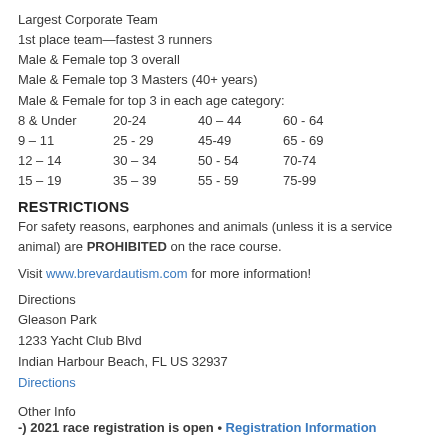Largest Corporate Team
1st place team—fastest 3 runners
Male & Female top 3 overall
Male & Female top 3 Masters (40+ years)
Male & Female for top 3 in each age category:
8 & Under   20-24        40 – 44     60 - 64
9 – 11       25 - 29     45-49       65 - 69
12 – 14     30 – 34     50 - 54     70-74
15 – 19     35 – 39     55 - 59     75-99
RESTRICTIONS
For safety reasons, earphones and animals (unless it is a service animal) are PROHIBITED on the race course.
Visit www.brevardautism.com for more information!
Directions
Gleason Park
1233 Yacht Club Blvd
Indian Harbour Beach, FL US 32937
Directions
Other Info
-) 2021 race registration is open • Registration Information